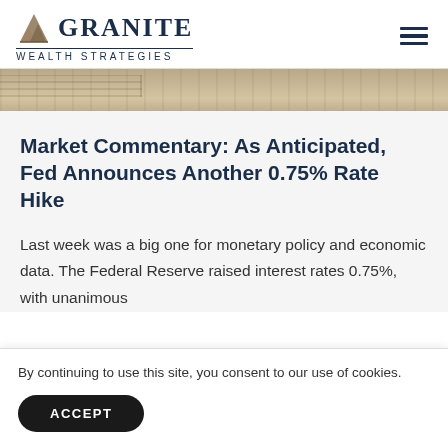GRANITE WEALTH STRATEGIES
[Figure (photo): Decorative hero banner image showing a stone or architectural element in warm beige/tan tones]
Market Commentary: As Anticipated, Fed Announces Another 0.75% Rate Hike
Last week was a big one for monetary policy and economic data. The Federal Reserve raised interest rates 0.75%, with unanimous
By continuing to use this site, you consent to our use of cookies.